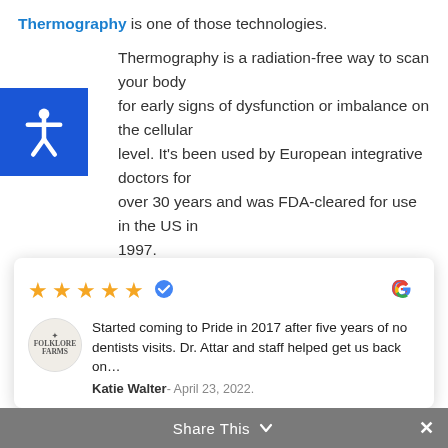Thermography is one of those technologies.
Thermography is a radiation-free way to scan your body for early signs of dysfunction or imbalance on the cellular level. It's been used by European integrative doctors for over 30 years and was FDA-cleared for use in the US in 1997.
The technology itself is based on your body's ability to thermoregulate. This ability to keep a steady temperature is controlled by your autonomic nervous system.
When your internal temperature changes, your hypothalamus is signaled to initiate changes to bring your temp back to its norm. You sweat; your blood vessels
[Figure (other): Google review card with 5 stars, verified badge, Folklore Farms avatar, review text from Katie Walter dated April 23, 2022 about Pride dental practice]
your body's self-regulating abilities
Share This ×